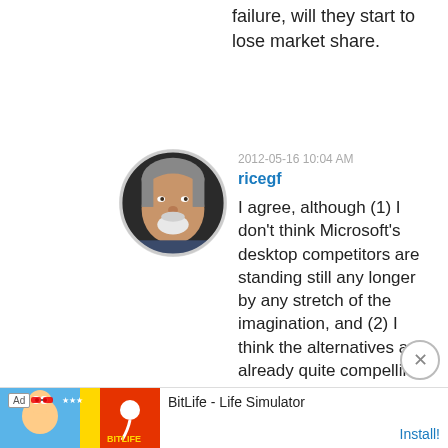failure, will they start to lose market share.
[Figure (photo): Circular avatar photo of an older man with gray hair and a white goatee, smiling]
2012-05-16 10:04 AM
ricegf
I agree, although (1) I don't think Microsoft's desktop competitors are standing still any longer by any stretch of the imagination, and (2) I think the alternatives are already quite compelling, what's needed is a brilliant marketing campaign to catch the market's
[Figure (screenshot): Advertisement banner for BitLife - Life Simulator app with Install button]